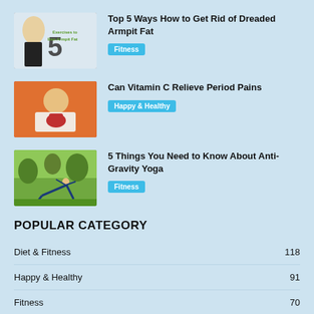[Figure (photo): Thumbnail image showing woman with '5 Exercises to Banish Armpit Fat' text overlay]
Top 5 Ways How to Get Rid of Dreaded Armpit Fat
Fitness
[Figure (photo): Thumbnail image of woman lying with hot water bottle]
Can Vitamin C Relieve Period Pains
Happy & Healthy
[Figure (photo): Thumbnail image of woman doing yoga in a park]
5 Things You Need to Know About Anti-Gravity Yoga
Fitness
POPULAR CATEGORY
Diet & Fitness 118
Happy & Healthy 91
Fitness 70